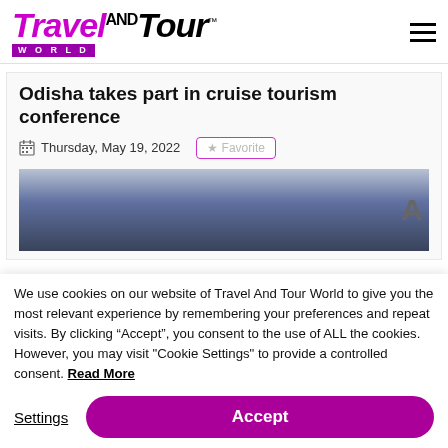Travel AND Tour World
Odisha takes part in cruise tourism conference
Thursday, May 19, 2022
[Figure (photo): Dark blue-grey sky/dusk image used as article header photo, partially visible with letter A on the right edge]
We use cookies on our website of Travel And Tour World to give you the most relevant experience by remembering your preferences and repeat visits. By clicking “Accept”, you consent to the use of ALL the cookies. However, you may visit "Cookie Settings" to provide a controlled consent. Read More
Settings
Accept